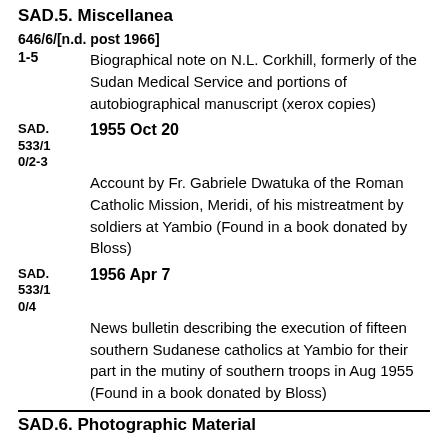SAD.5. Miscellanea
646/6/[n.d. post 1966]
1-5   Biographical note on N.L. Corkhill, formerly of the Sudan Medical Service and portions of autobiographical manuscript (xerox copies)
SAD. 1955 Oct 20
533/10/2-3
Account by Fr. Gabriele Dwatuka of the Roman Catholic Mission, Meridi, of his mistreatment by soldiers at Yambio (Found in a book donated by Bloss)
SAD. 1956 Apr 7
533/10/4
News bulletin describing the execution of fifteen southern Sudanese catholics at Yambio for their part in the mutiny of southern troops in Aug 1955 (Found in a book donated by Bloss)
SAD.6. Photographic Material